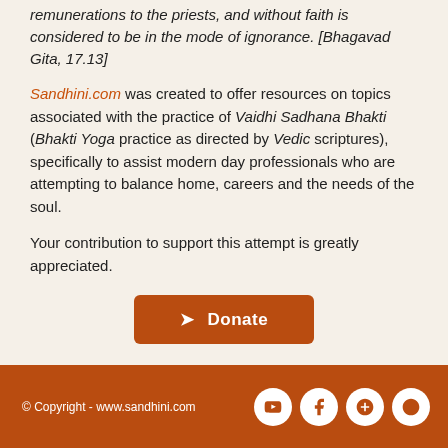remunerations to the priests, and without faith is considered to be in the mode of ignorance. [Bhagavad Gita, 17.13]
Sandhini.com was created to offer resources on topics associated with the practice of Vaidhi Sadhana Bhakti (Bhakti Yoga practice as directed by Vedic scriptures), specifically to assist modern day professionals who are attempting to balance home, careers and the needs of the soul.
Your contribution to support this attempt is greatly appreciated.
[Figure (other): Orange Donate button with arrow icon]
© Copyright - www.sandhini.com